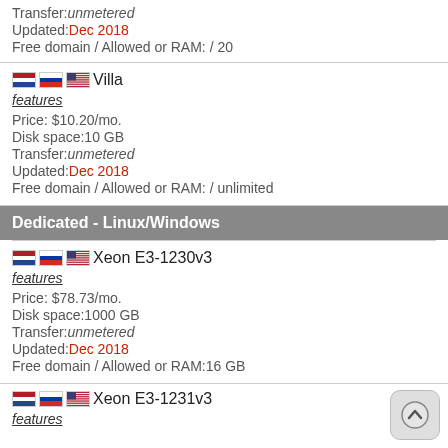Transfer: unmetered
Updated: Dec 2018
Free domain / Allowed or RAM: / 20
Villa — features — Price: $10.20/mo. — Disk space: 10 GB — Transfer: unmetered — Updated: Dec 2018 — Free domain / Allowed or RAM: / unlimited
Dedicated - Linux/Windows
Xeon E3-1230v3 — features — Price: $78.73/mo. — Disk space: 1000 GB — Transfer: unmetered — Updated: Dec 2018 — Free domain / Allowed or RAM: 16 GB
Xeon E3-1231v3 — features